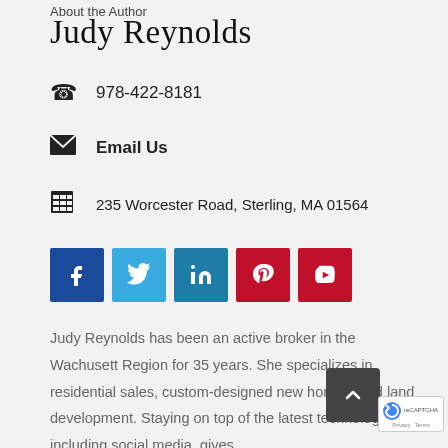About the Author
Judy Reynolds
978-422-8181
Email Us
235 Worcester Road, Sterling, MA 01564
[Figure (infographic): Social media icons: Facebook (blue), Twitter (light blue), LinkedIn (teal), Pinterest (red), YouTube (red)]
Judy Reynolds has been an active broker in the Wachusett Region for 35 years. She specializes in residential sales, custom-designed new homes, and land development. Staying on top of the latest technology, including social media, gives